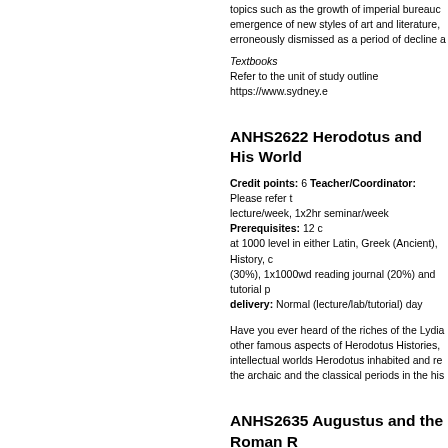topics such as the growth of imperial bureauc... emergence of new styles of art and literature,... erroneously dismissed as a period of decline a...
Textbooks
Refer to the unit of study outline https://www.sydney.e...
ANHS2622 Herodotus and His World
Credit points: 6 Teacher/Coordinator: Please refer t... lecture/week, 1x2hr seminar/week Prerequisites: 12 c... at 1000 level in either Latin, Greek (Ancient), History, c... (30%), 1x1000wd reading journal (20%) and tutorial p... delivery: Normal (lecture/lab/tutorial) day
Have you ever heard of the riches of the Lydia... other famous aspects of Herodotus Histories,... intellectual worlds Herodotus inhabited and re... the archaic and the classical periods in the his...
ANHS2635 Augustus and the Roman R...
Credit points: 6 Teacher/Coordinator: Please refer t... lectures/week, 1x1hr tutorial/week Prerequisites: 12 c... Assessment: 1x1000wd textual commentary (20%), 1... individual sessions https://www.sydney.edu.au/units M...
The Roman revolution of the First Century BC... regime which celebrated peace, political harm... explores the transformation of the Republic in...